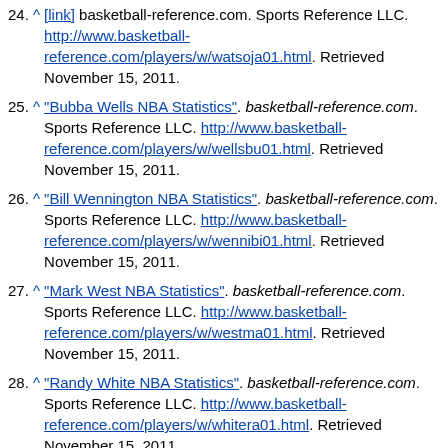24. ^ [link] basketball-reference.com. Sports Reference LLC. http://www.basketball-reference.com/players/w/watsoja01.html. Retrieved November 15, 2011.
25. ^ "Bubba Wells NBA Statistics". basketball-reference.com. Sports Reference LLC. http://www.basketball-reference.com/players/w/wellsbu01.html. Retrieved November 15, 2011.
26. ^ "Bill Wennington NBA Statistics". basketball-reference.com. Sports Reference LLC. http://www.basketball-reference.com/players/w/wennibi01.html. Retrieved November 15, 2011.
27. ^ "Mark West NBA Statistics". basketball-reference.com. Sports Reference LLC. http://www.basketball-reference.com/players/w/westma01.html. Retrieved November 15, 2011.
28. ^ "Randy White NBA Statistics". basketball-reference.com. Sports Reference LLC. http://www.basketball-reference.com/players/w/whitera01.html. Retrieved November 15, 2011.
29. ^ "Jerome Whitehead NBA Statistics". basketball-reference.com. Sports Reference LLC. http://www.basketball-reference.com/players/w/whiteje...